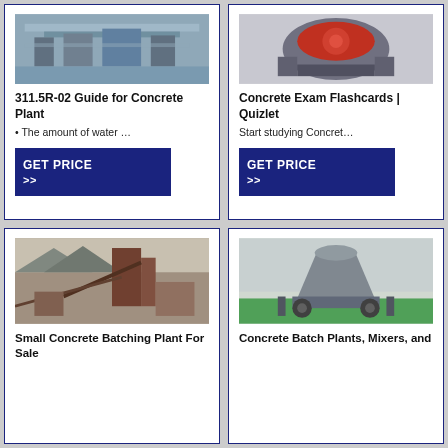[Figure (photo): Industrial concrete plant machinery, overhead view with metal frames]
311.5R-02 Guide for Concrete Plant
The amount of water …
[Figure (other): GET PRICE >> button]
[Figure (photo): Industrial crusher or mixing machinery, red and grey]
Concrete Exam Flashcards | Quizlet
Start studying Concret…
[Figure (other): GET PRICE >> button]
[Figure (photo): Small concrete batching plant in outdoor industrial setting with conveyor belts]
Small Concrete Batching Plant For Sale
[Figure (photo): Large cone crusher machine on green floor in factory]
Concrete Batch Plants, Mixers, and